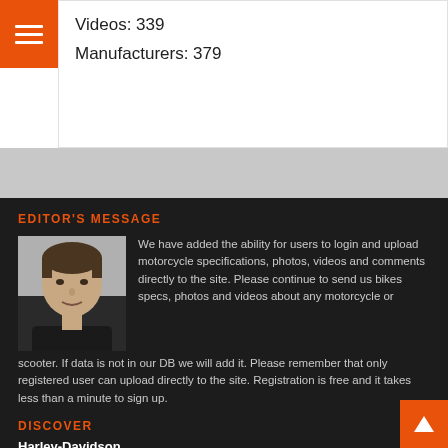Videos: 339
Manufacturers: 379
EDITOR'S MESSAGE
[Figure (photo): Headshot photo of a man with dark hair, wearing a dark shirt, against a light background]
We have added the ability for users to login and upload motorcycle specifications, photos, videos and comments directly to the site. Please continue to send us bikes specs, photos and videos about any motorcycle or scooter. If data is not in our DB we will add it. Please remember that only registered user can upload directly to the site. Registration is free and it takes less than a minute to sign up.
DISCOVER
Harley-Davidson